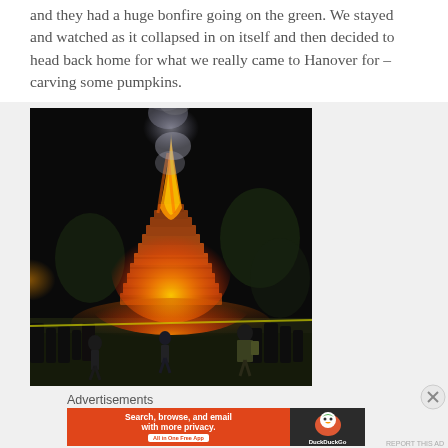and they had a huge bonfire going on the green. We stayed and watched as it collapsed in on itself and then decided to head back home for what we really came to Hanover for – carving some pumpkins.
[Figure (photo): Nighttime photo of a large bonfire structure made of stacked wood/pallets burning brightly on a green, with crowds of people around a yellow caution tape barrier, smoke rising into the dark sky, trees visible in background.]
Advertisements
[Figure (other): DuckDuckGo advertisement banner: orange left panel with text 'Search, browse, and email with more privacy. All in One Free App', dark right panel with DuckDuckGo duck logo and brand name.]